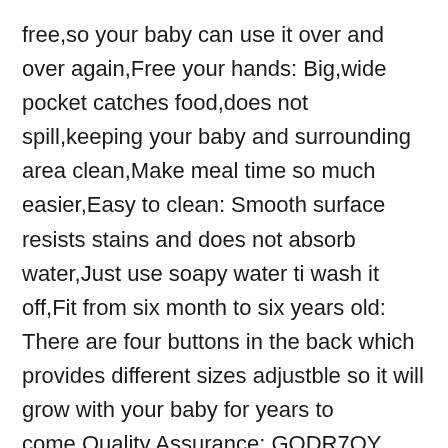free,so your baby can use it over and over again,Free your hands: Big,wide pocket catches food,does not spill,keeping your baby and surrounding area clean,Make meal time so much easier,Easy to clean: Smooth surface resists stains and does not absorb water,Just use soapy water ti wash it off,Fit from six month to six years old: There are four buttons in the back which provides different sizes adjustble so it will grow with your baby for years to come,Quality Assurance: GODR7OY provides high quality and Affordable price product,If you are not satisfied with our bibs please let me know to help you
BPA Free Waterproof Bibs GODR7OY Silicone Baby Bib Blue Sky Adjustable 2PCS